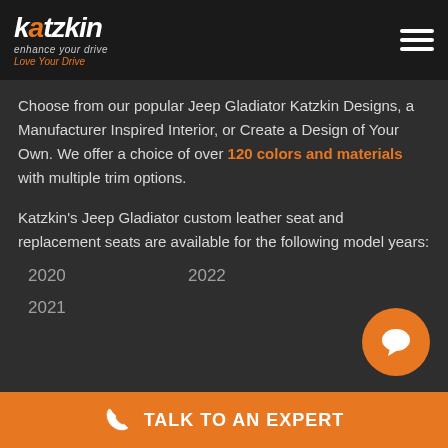Katzkin — enhance your drive, Love Your Drive
Choose from our popular Jeep Gladiator Katzkin Designs, a Manufacturer Inspired Interior, or Create a Design of Your Own. We offer a choice of over 120 colors and materials with multiple trim options.
Katzkin's Jeep Gladiator custom leather seat and replacement seats are available for the following model years:
2020
2021
2022
TALK TO AN EXPERT